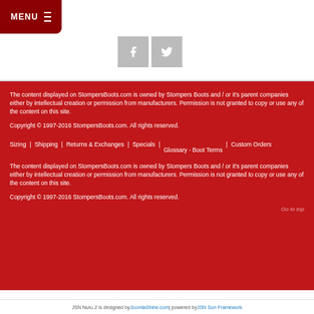[Figure (screenshot): Red MENU button with hamburger icon in top-left corner]
[Figure (screenshot): Facebook and Twitter social media icons in gray square buttons]
The content displayed on StompersBoots.com is owned by Stompers Boots and / or it's parent companies either by intellectual creation or permission from manufacturers. Permission is not granted to copy or use any of the content on this site.
Copyright © 1997-2016 StompersBoots.com. All rights reserved.
Sizing | Shipping | Returns & Exchanges | Specials | Glossary - Boot Terms | Custom Orders
The content displayed on StompersBoots.com is owned by Stompers Boots and / or it's parent companies either by intellectual creation or permission from manufacturers. Permission is not granted to copy or use any of the content on this site.
Copyright © 1997-2016 StompersBoots.com. All rights reserved.
Go to top
JSN Nuru 2 is designed by JoomlaShine.com | powered by JSN Sun Framework